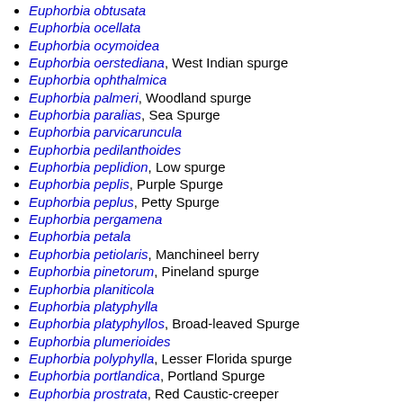Euphorbia obtusata
Euphorbia ocellata
Euphorbia ocymoidea
Euphorbia oerstediana, West Indian spurge
Euphorbia ophthalmica
Euphorbia palmeri, Woodland spurge
Euphorbia paralias, Sea Spurge
Euphorbia parvicaruncula
Euphorbia pedilanthoides
Euphorbia peplidion, Low spurge
Euphorbia peplis, Purple Spurge
Euphorbia peplus, Petty Spurge
Euphorbia pergamena
Euphorbia petala
Euphorbia petiolaris, Manchineel berry
Euphorbia pinetorum, Pineland spurge
Euphorbia planiticola
Euphorbia platyphylla
Euphorbia platyphyllos, Broad-leaved Spurge
Euphorbia plumerioides
Euphorbia polyphylla, Lesser Florida spurge
Euphorbia portlandica, Portland Spurge
Euphorbia prostrata, Red Caustic-creeper
Euphorbia psammogeton
Euphorbia pubentissima, False Flowering Spurge
Euphorbia pulcherrima, Poinsettia